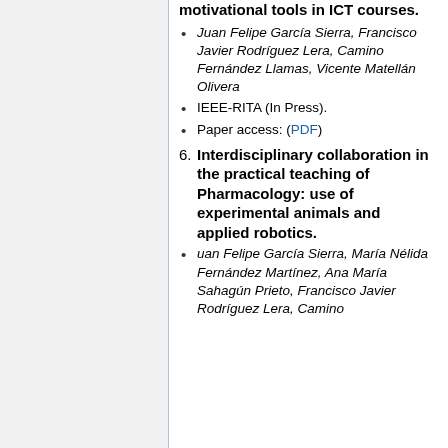motivational tools in ICT courses.
Juan Felipe García Sierra, Francisco Javier Rodríguez Lera, Camino Fernández Llamas, Vicente Matellán Olivera
IEEE-RITA (In Press).
Paper access: (PDF)
6. Interdisciplinary collaboration in the practical teaching of Pharmacology: use of experimental animals and applied robotics.
uan Felipe García Sierra, María Nélida Fernández Martínez, Ana María Sahagún Prieto, Francisco Javier Rodríguez Lera, Camino